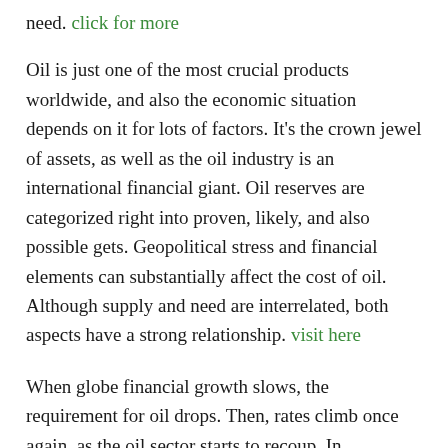need. click for more
Oil is just one of the most crucial products worldwide, and also the economic situation depends on it for lots of factors. It's the crown jewel of assets, as well as the oil industry is an international financial giant. Oil reserves are categorized right into proven, likely, and also possible gets. Geopolitical stress and financial elements can substantially affect the cost of oil. Although supply and need are interrelated, both aspects have a strong relationship. visit here
When globe financial growth slows, the requirement for oil drops. Then, rates climb once again, as the oil sector starts to recoup. In